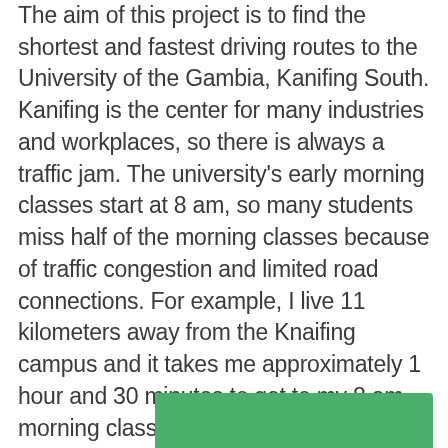The aim of this project is to find the shortest and fastest driving routes to the University of the Gambia, Kanifing South. Kanifing is the center for many industries and workplaces, so there is always a traffic jam. The university's early morning classes start at 8 am, so many students miss half of the morning classes because of traffic congestion and limited road connections. For example, I live 11 kilometers away from the Knaifing campus and it takes me approximately 1 hour and 30 minutes to get to my 8 am morning class because of traffic which is supposed to take about 16 minutes.
[Figure (photo): Green colored rectangular area visible at the bottom of the page, partially cut off]